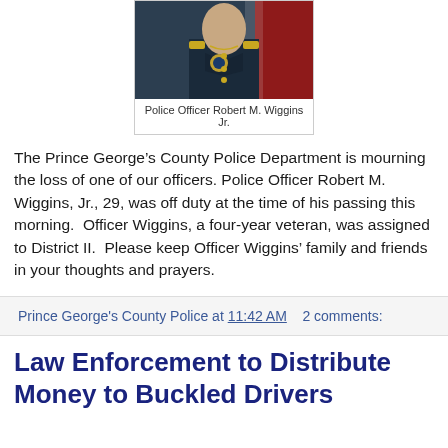[Figure (photo): Photo of Police Officer Robert M. Wiggins Jr. in dress uniform with badge and gold buttons]
Police Officer Robert M. Wiggins Jr.
The Prince George’s County Police Department is mourning the loss of one of our officers. Police Officer Robert M. Wiggins, Jr., 29, was off duty at the time of his passing this morning.  Officer Wiggins, a four-year veteran, was assigned to District II.  Please keep Officer Wiggins’ family and friends in your thoughts and prayers.
Prince George's County Police at 11:42 AM    2 comments:
Law Enforcement to Distribute Money to Buckled Drivers